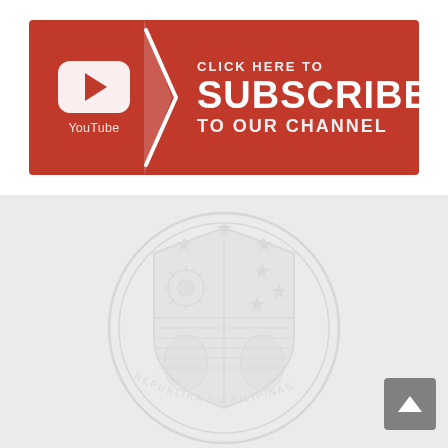[Figure (infographic): YouTube Subscribe banner with red background, YouTube logo/icon on left with play button, white chevron arrow in middle, and text 'CLICK HERE TO SUBSCRIBE TO OUR CHANNEL' on right in white bold text]
[Figure (illustration): Philippine government seal (Republika ng Pilipinas) shown as a faded watermark on a light gray background, with scroll-to-top button in bottom right corner]